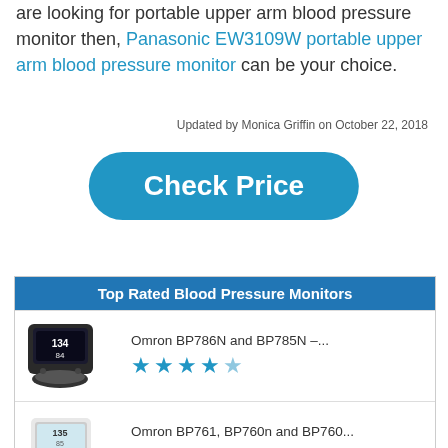are looking for portable upper arm blood pressure monitor then, Panasonic EW3109W portable upper arm blood pressure monitor can be your choice.
Updated by Monica Griffin on October 22, 2018
[Figure (other): Blue rounded rectangle button with text 'Check Price']
| Top Rated Blood Pressure Monitors |
| --- |
| Omron BP786N and BP785N –... | 4.5 stars |
| Omron BP761, BP760n and BP760... | 4.5 stars |